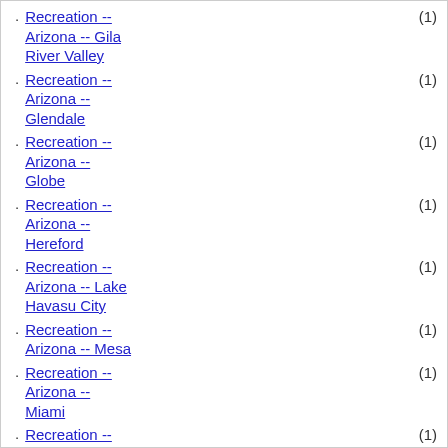Recreation -- Arizona -- Gila River Valley (1)
Recreation -- Arizona -- Glendale (1)
Recreation -- Arizona -- Globe (1)
Recreation -- Arizona -- Hereford (1)
Recreation -- Arizona -- Lake Havasu City (1)
Recreation -- Arizona -- Mesa (1)
Recreation -- Arizona -- Miami (1)
Recreation -- Arizona -- Nogales (1)
Recreation -- Arizona -- Page (1)
Recreation -- Arizona -- Parker (1)
Recreation -- (1)